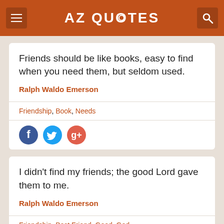AZ QUOTES
Friends should be like books, easy to find when you need them, but seldom used.
Ralph Waldo Emerson
Friendship, Book, Needs
[Figure (infographic): Social share buttons: Facebook, Twitter, Google+]
I didn't find my friends; the good Lord gave them to me.
Ralph Waldo Emerson
Friendship, Best Friend, Good, God